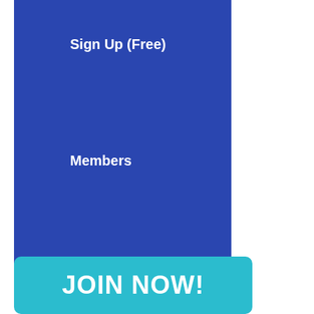Sign Up (Free)
Members
About Us
JOIN NOW!